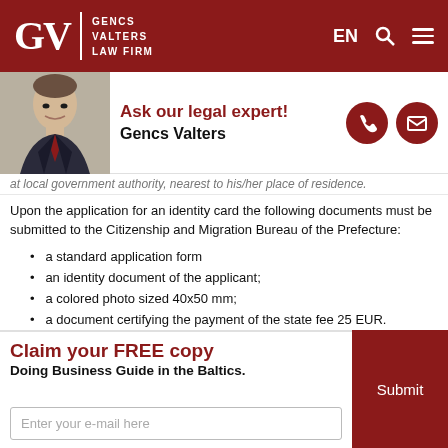[Figure (logo): Gencs Valters Law Firm logo with GV initials on dark red header background with EN, search, and menu icons]
[Figure (photo): Photo of Gencs Valters, a man in a suit]
Ask our legal expert! Gencs Valters
...at local government authority, nearest to his/her place of residence.
Upon the application for an identity card the following documents must be submitted to the Citizenship and Migration Bureau of the Prefecture:
a standard application form
an identity document of the applicant;
a colored photo sized 40x50 mm;
a document certifying the payment of the state fee 25 EUR.
Identity cards are issued within a period of one month from the date of submission of the application.
The right of temporary residence shall be extended automatically for a period of five years if the registered place of residence of the EU citizen is continually in Estonia and if the right of temporary residence of the EU citizen
Claim your FREE copy
Doing Business Guide in the Baltics.
Enter your e-mail here
Submit